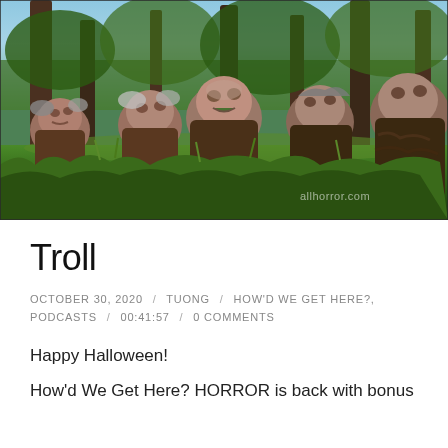[Figure (photo): A group of troll creatures in prosthetic makeup huddled together in a forest setting with trees and green grass. Watermark visible in bottom right corner.]
Troll
OCTOBER 30, 2020 / TUONG / HOW'D WE GET HERE?, PODCASTS / 00:41:57 / 0 COMMENTS
Happy Halloween!
How'd We Get Here? HORROR is back with bonus